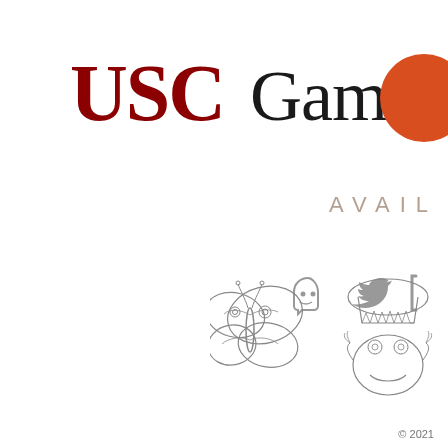[Figure (logo): USC Games logo with 'USC' in dark red/crimson and 'Games' in black serif text, followed by a solid orange-red circle on the right side]
AVAIL
[Figure (illustration): Three social media icons in gray: Discord logo, Twitter bird logo, and a partially visible third icon (likely Facebook or Instagram)]
[Figure (illustration): Two pencil/ink sketch illustrations: a detailed moth/butterfly on the left, and a frog-like creature with a mushroom cap hat on the right]
© 2021